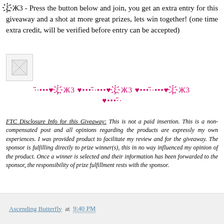ξ҉Ж3 - Press the button below and join, you get an extra entry for this giveaway and a shot at more great prizes, lets win together! (one time extra credit, will be verified before entry can be accepted)
[Figure (photo): Broken/placeholder image icon in a small box]
·̈·•••♥ ξ҉Ж3 ♥•••·̈·•••♥ ξ҉Ж3 ♥•••·̈·•••♥ ξ҉Ж3 ♥•••·̈·
FTC Disclosure Info for this Giveaway: This is not a paid insertion. This is a non-compensated post and all opinions regarding the products are expressly my own experiences. I was provided product to facilitate my review and for the giveaway. The sponsor is fulfilling directly to prize winner(s), this in no way influenced my opinion of the product. Once a winner is selected and their information has been forwarded to the sponsor, the responsibility of prize fulfillment rests with the sponsor.
Ascending Butterfly at 9:40 PM